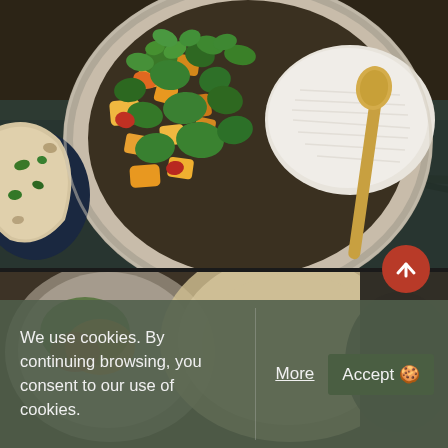[Figure (photo): Overhead view of a bowl containing vegetable curry with cilantro garnish and white rice, with a spoon, on a dark surface, with flatbread (naan/roti) visible on the left side.]
[Figure (photo): Partially visible second food photo showing a bowl of curry and flatbread, blurred in background, partially obscured by cookie consent banner.]
We use cookies. By continuing browsing, you consent to our use of cookies.
More
Accept 🍪